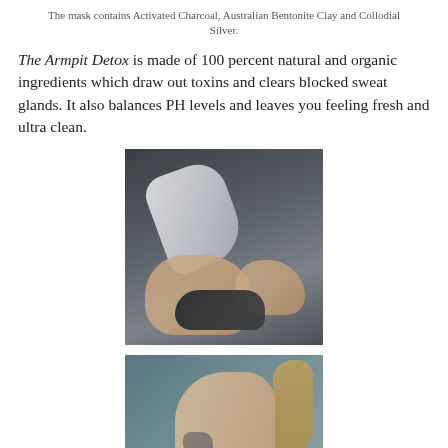The mask contains Activated Charcoal, Australian Bentonite Clay and Collodial Silver.
The Armpit Detox is made of 100 percent natural and organic ingredients which draw out toxins and clears blocked sweat glands. It also balances PH levels and leaves you feeling fresh and ultra clean.
[Figure (photo): Hands holding dark clay product with a cloth/packet]
[Figure (photo): Woman showing underarm with tattoo visible, applying product]